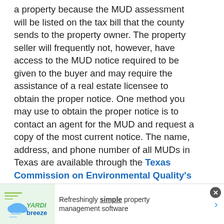a property because the MUD assessment will be listed on the tax bill that the county sends to the property owner. The property seller will frequently not, however, have access to the MUD notice required to be given to the buyer and may require the assistance of a real estate licensee to obtain the proper notice. One method you may use to obtain the proper notice is to contact an agent for the MUD and request a copy of the most current notice. The name, address, and phone number of all MUDs in Texas are available through the Texas Commission on Environmental Quality's website.
After entering the website, you may look up any MUD by going to the first search field entitled “Search by Water District Name or Number.” Type in the name of the MUD for which you are seeking information and press enter. The website will provide information regarding that MUD, including contact information for the MUD’s agent. You
[Figure (infographic): Yardi Breeze advertisement banner: logo with cloud/wind icon, text reading 'Refreshingly simple property management software', blue arrow on right, close button top right]